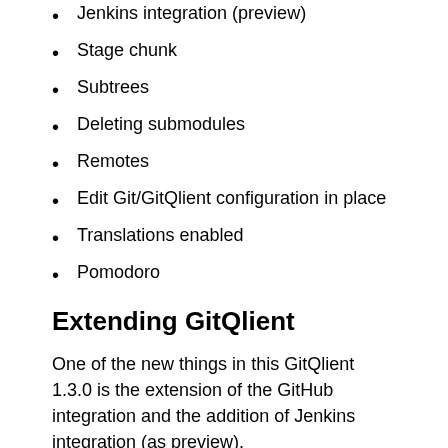Jenkins integration (preview)
Stage chunk
Subtrees
Deleting submodules
Remotes
Edit Git/GitQlient configuration in place
Translations enabled
Pomodoro
Extending GitQlient
One of the new things in this GitQlient 1.3.0 is the extension of the GitHub integration and the addition of Jenkins integration (as preview).
With the GitHub integration it is possible now to create